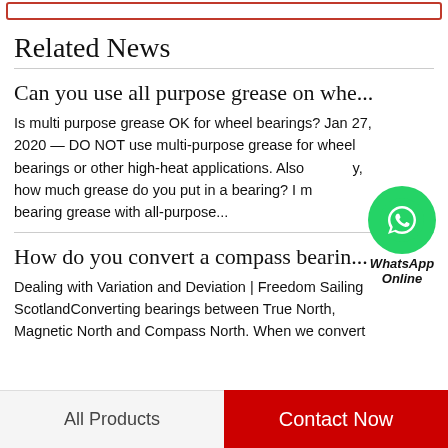Related News
Can you use all purpose grease on whe...
Is multi purpose grease OK for wheel bearings? Jan 27, 2020 — DO NOT use multi-purpose grease for wheel bearings or other high-heat applications. Also, how much grease do you put in a bearing? I mix bearing grease with all-purpose...
[Figure (illustration): WhatsApp green circle icon with phone handset, labeled WhatsApp Online]
How do you convert a compass bearin...
Dealing with Variation and Deviation | Freedom Sailing ScotlandConverting bearings between True North, Magnetic North and Compass North. When we convert
All Products   Contact Now